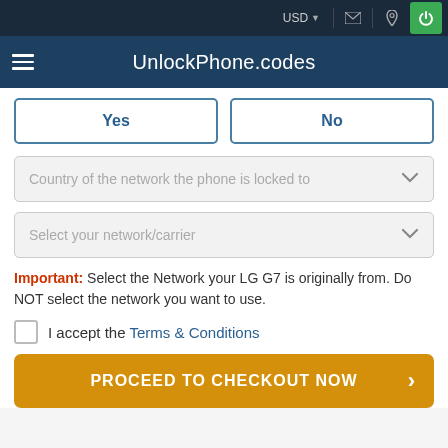UnlockPhone.codes
Yes | No
Country of the network the phone is locked to
Select your network/carrier
Important: Select the Network your LG G7 is originally from. Do NOT select the network you want to use.
I accept the Terms & Conditions
PROCEED TO CHECKOUT NOW